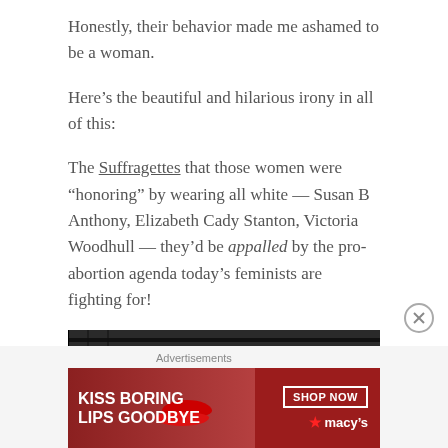Honestly, their behavior made me ashamed to be a woman.
Here’s the beautiful and hilarious irony in all of this:
The Suffragettes that those women were “honoring” by wearing all white — Susan B Anthony, Elizabeth Cady Stanton, Victoria Woodhull — they’d be appalled by the pro-abortion agenda today’s feminists are fighting for!
[Figure (photo): Black and white historical photograph of a crowd of women in white dresses and hats, gathered on what appears to be bleachers or steps.]
Advertisements
[Figure (other): Advertisement banner for Macy's lipstick promotion. Red background with text 'KISS BORING LIPS GOODBYE' and 'SHOP NOW' button with Macy's star logo.]